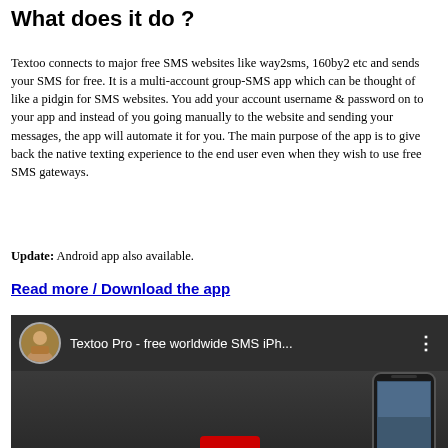What does it do ?
Textoo connects to major free SMS websites like way2sms, 160by2 etc and sends your SMS for free. It is a multi-account group-SMS app which can be thought of like a pidgin for SMS websites. You add your account username & password on to your app and instead of you going manually to the website and sending your messages, the app will automate it for you. The main purpose of the app is to give back the native texting experience to the end user even when they wish to use free SMS gateways.
Update: Android app also available.
Read more / Download the app
[Figure (screenshot): YouTube video thumbnail showing 'Textoo Pro - free worldwide SMS iPh...' with a user avatar, three-dot menu, and a phone device visible on a dark background with a red element at the bottom.]